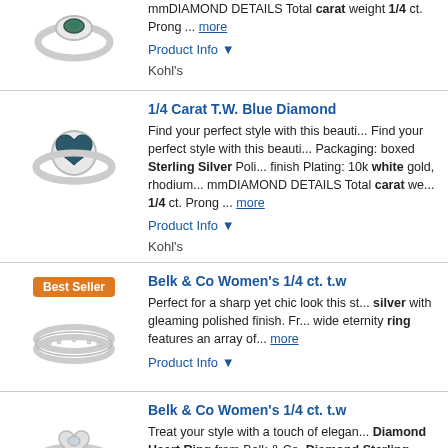[Figure (photo): Small blue diamond ring with dark heart center stone]
mmDIAMOND DETAILS Total carat weight 1/4 ct. Prong ... more
Product Info ▼
Kohl's
[Figure (photo): Sterling silver heart ring with blue diamond cluster]
1/4 Carat T.W. Blue Diamond
Find your perfect style with this beautiful Find your perfect style with this beautiful Packaging: boxed Sterling Silver Polished finish Plating: 10k white gold, rhodium mmDIAMOND DETAILS Total carat weight 1/4 ct. Prong ... more
Product Info ▼
Kohl's
Best Seller
[Figure (photo): Thin silver eternity band ring with small diamonds]
Belk & Co Women's 1/4 ct. t.w
Perfect for a sharp yet chic look this sterling silver with gleaming polished finish. Free wide eternity ring features an array of more
Product Info ▼
[Figure (photo): Silver heart-shaped diamond ring]
Belk & Co Women's 1/4 ct. t.w
Treat your style with a touch of elegance Diamond Heart Ring from Belk & Co. Diamond Sterling Silver Heart Ring,
Product Info ▼